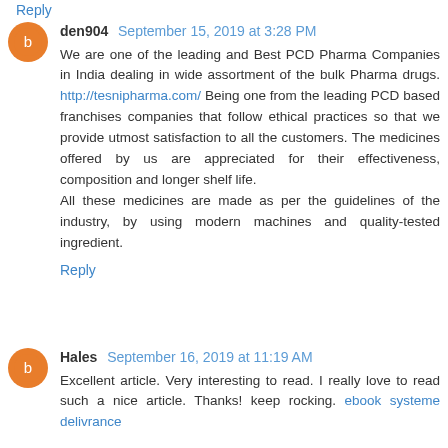Reply (partial, top clipped)
den904  September 15, 2019 at 3:28 PM
We are one of the leading and Best PCD Pharma Companies in India dealing in wide assortment of the bulk Pharma drugs. http://tesnipharma.com/ Being one from the leading PCD based franchises companies that follow ethical practices so that we provide utmost satisfaction to all the customers. The medicines offered by us are appreciated for their effectiveness, composition and longer shelf life.
All these medicines are made as per the guidelines of the industry, by using modern machines and quality-tested ingredient.
Reply
Hales  September 16, 2019 at 11:19 AM
Excellent article. Very interesting to read. I really love to read such a nice article. Thanks! keep rocking. ebook systeme delivrance